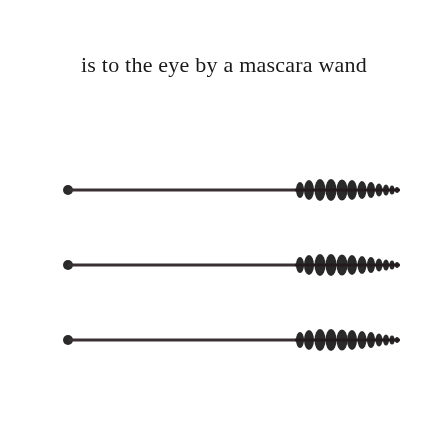is to the eye by a mascara wand
[Figure (illustration): Three mascara wands arranged horizontally, one above the other, each with a long thin dark handle tapering to a small round bristle brush head on the right side.]